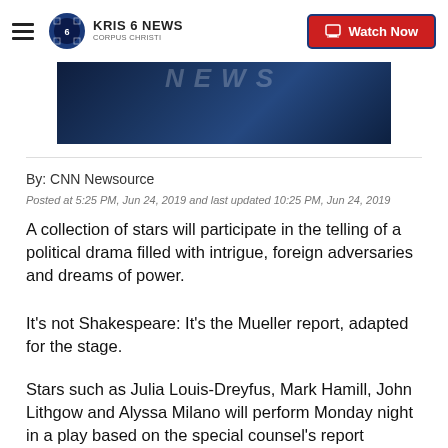KRIS 6 NEWS CORPUS CHRISTI | Watch Now
[Figure (screenshot): News broadcast background image with dark blue tones and NEWS text watermark]
By: CNN Newsource
Posted at 5:25 PM, Jun 24, 2019 and last updated 10:25 PM, Jun 24, 2019
A collection of stars will participate in the telling of a political drama filled with intrigue, foreign adversaries and dreams of power.
It's not Shakespeare: It's the Mueller report, adapted for the stage.
Stars such as Julia Louis-Dreyfus, Mark Hamill, John Lithgow and Alyssa Milano will perform Monday night in a play based on the special counsel's report